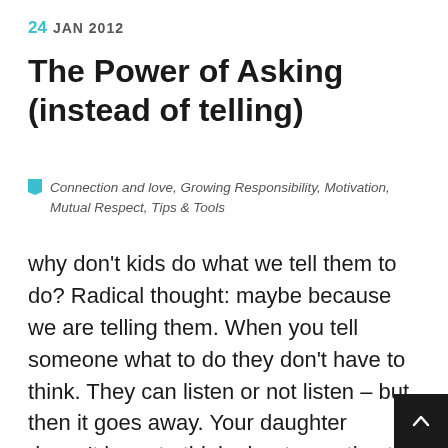24 JAN 2012
The Power of Asking (instead of telling)
Connection and love, Growing Responsibility, Motivation, Mutual Respect, Tips & Tools
why don't kids do what we tell them to do? Radical thought: maybe because we are telling them. When you tell someone what to do they don't have to think. They can listen or not listen – but then it goes away. Your daughter doesn't have to think about or notice the mess, or her unfinished homework, or the chore she didn't do or remember to write a thank you note. You are doing the noticing (and remind for her. In fact, when we parents do all the notici